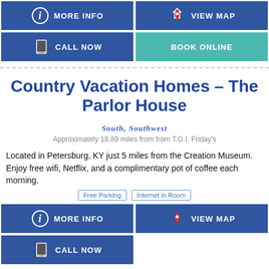[Figure (infographic): Top button row: MORE INFO (blue, info icon) and VIEW MAP (blue, map pin icon)]
[Figure (infographic): Second button row: CALL NOW (blue, phone icon) and BOOK ONLINE (teal)]
Country Vacation Homes - The Parlor House
SOUTH, SOUTHWEST
Approximately 18.89 miles from from T.G.I. Friday's
Located in Petersburg, KY just 5 miles from the Creation Museum. Enjoy free wifi, Netflix, and a complimentary pot of coffee each morning.
Free Parking  Internet in Room
[Figure (infographic): Bottom button row: MORE INFO (blue, info icon) and VIEW MAP (blue, map pin icon)]
[Figure (infographic): Bottom second button row: CALL NOW (blue, phone icon)]
Kenn Hess AR Parlor Set...